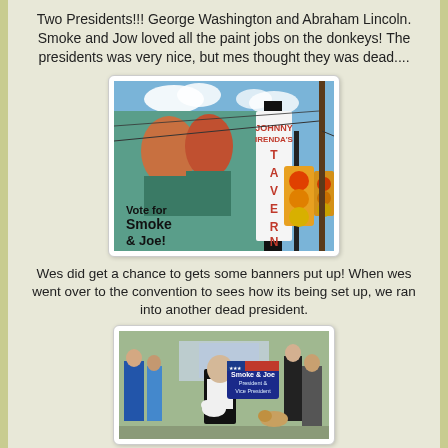Two Presidents!!! George Washington and Abraham Lincoln. Smoke and Jow loved all the paint jobs on the donkeys! The presidents was very nice, but mes thought they was dead....
[Figure (photo): Outdoor photo of a 'Vote for Smoke & Joe!' campaign banner next to a tavern sign reading 'Johnny Irenda's Tavern' with traffic lights and utility poles in background against blue sky with clouds.]
Wes did get a chance to gets some banners put up! When wes went over to the convention to sees how its being set up, we ran into another dead president.
[Figure (photo): Outdoor convention scene with a person holding a white dog, holding a 'Smoke & Joe President & Vice President' sign with American flag graphic. Several people visible in background.]